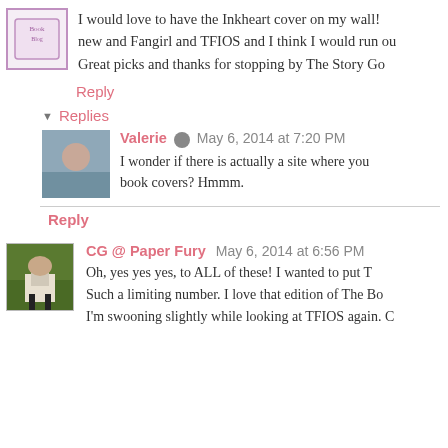[Figure (illustration): Purple-bordered avatar icon for first commenter]
I would love to have the Inkheart cover on my wall! new and Fangirl and TFIOS and I think I would run ou Great picks and thanks for stopping by The Story Go
Reply
Replies
[Figure (photo): Profile photo of Valerie, a woman]
Valerie  May 6, 2014 at 7:20 PM
I wonder if there is actually a site where you book covers? Hmmm.
Reply
[Figure (photo): Profile photo of CG @ Paper Fury, person in white pants and boots on grass]
CG @ Paper Fury  May 6, 2014 at 6:56 PM
Oh, yes yes yes, to ALL of these! I wanted to put T Such a limiting number. I love that edition of The Bo I'm swooning slightly while looking at TFIOS again. C